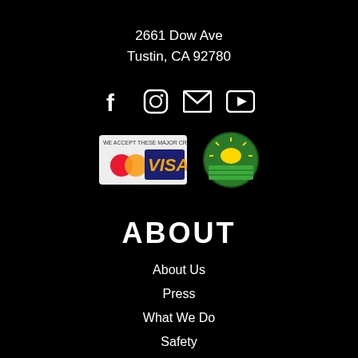2661 Dow Ave
Tustin, CA 92780
[Figure (illustration): Social media icons: Facebook, Instagram, Email, YouTube in white on black background]
[Figure (illustration): Payment logos: MasterCard and VISA credit card badge, and a round National Action Fund green/yellow logo]
ABOUT
About Us
Press
What We Do
Safety
Catalog